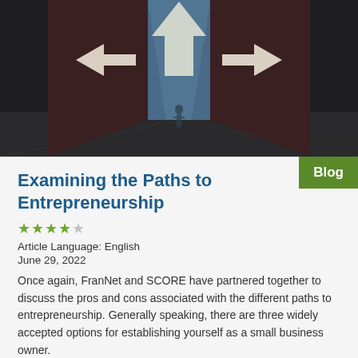[Figure (photo): A person standing at a crossroads with three large arrow signs: one pointing left, one pointing up, one pointing right, with a cityscape in the background]
Examining the Paths to Entrepreneurship
★★★★☆
Article Language: English
June 29, 2022
Once again, FranNet and SCORE have partnered together to discuss the pros and cons associated with the different paths to entrepreneurship. Generally speaking, there are three widely accepted options for establishing yourself as a small business owner.